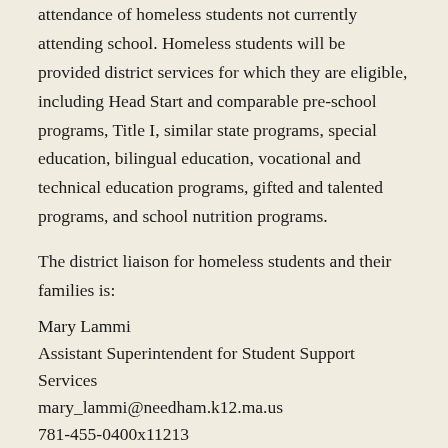attendance of homeless students not currently attending school. Homeless students will be provided district services for which they are eligible, including Head Start and comparable pre-school programs, Title I, similar state programs, special education, bilingual education, vocational and technical education programs, gifted and talented programs, and school nutrition programs.
The district liaison for homeless students and their families is:
Mary Lammi
Assistant Superintendent for Student Support Services
mary_lammi@needham.k12.ma.us
781-455-0400x11213
To the extent feasible, homeless students will continue to be enrolled in their school of origin while they remain homeless or until the end of the academic year in which they obtain permanent housing, instead of remaining in the school of